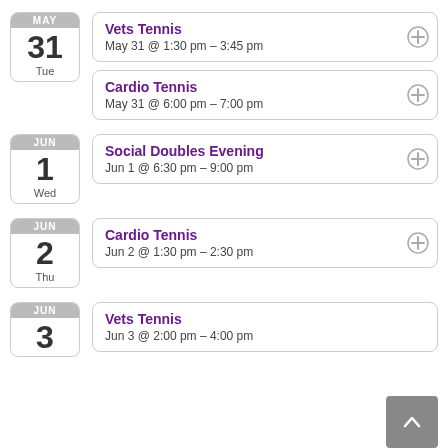MAY 31 Tue — Vets Tennis, May 31 @ 1:30 pm – 3:45 pm
MAY 31 Tue — Cardio Tennis, May 31 @ 6:00 pm – 7:00 pm
JUN 1 Wed — Social Doubles Evening, Jun 1 @ 6:30 pm – 9:00 pm
JUN 2 Thu — Cardio Tennis, Jun 2 @ 1:30 pm – 2:30 pm
JUN 3 — Vets Tennis, Jun 3 @ 2:00 pm – 4:00 pm